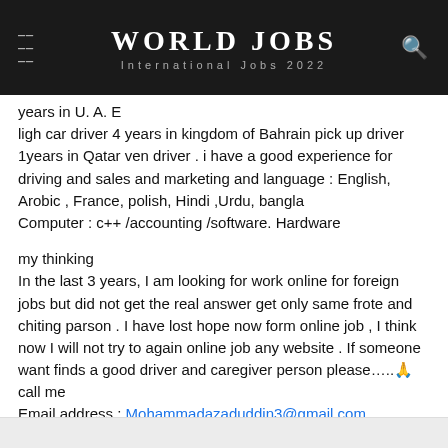WORLD JOBS
International Jobs 2022
years in U. A. E
ligh car driver 4 years in kingdom of Bahrain pick up driver 1years in Qatar ven driver . i have a good experience for driving and sales and marketing and language : English, Arobic , France, polish, Hindi ,Urdu, bangla
Computer : c++ /accounting /software. Hardware
my thinking
In the last 3 years, I am looking for work online for foreign jobs but did not get the real answer get only same frote and chiting parson . I have lost hope now form online job , I think now I will not try to again online job any website . If someone want finds a good driver and caregiver person please…..🙏 call me
Email address : Mohammadazaduddin3@gmail.com
Reply